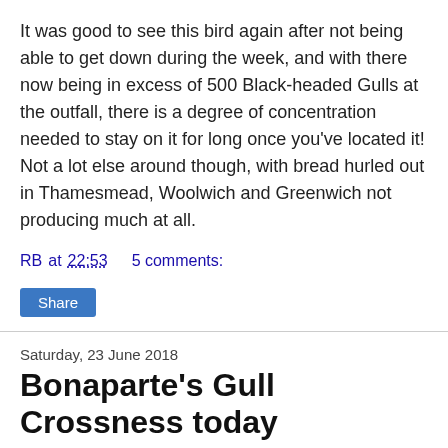It was good to see this bird again after not being able to get down during the week, and with there now being in excess of 500 Black-headed Gulls at the outfall, there is a degree of concentration needed to stay on it for long once you've located it! Not a lot else around though, with bread hurled out in Thamesmead, Woolwich and Greenwich not producing much at all.
RB at 22:53    5 comments:
Share
Saturday, 23 June 2018
Bonaparte's Gull Crossness today
Imaginatively titled as it is, it does what is says on the tin. I'd been at the Year 11 Prom last night until 1am dealing with the usual shenanigans, so it wasn't until 10am that I surfaced this morning. I was out the flat within the hour, and headed on the usual southeast London birding (gulling) circuit that I seem to do every weekend day. Thamesmead